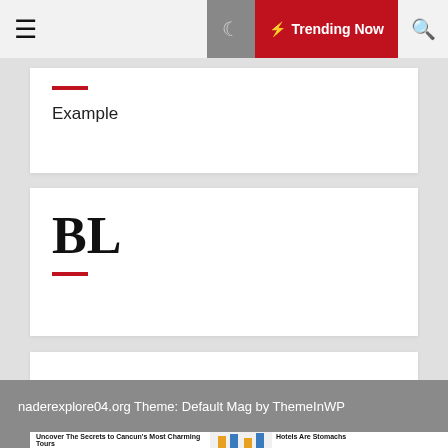☰  ☾  ⚡ Trending Now  🔍
Example
BL
TL
naderexplore04.org Theme: Default Mag by ThemeInWP
Uncover The Secrets to Cancun's Most Charming Tours
Hotels Are Stomachs